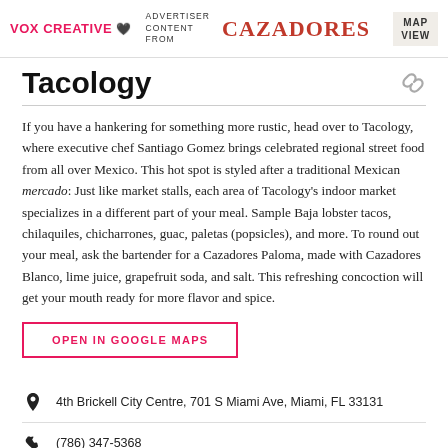VOX CREATIVE | ADVERTISER CONTENT FROM | CAZADORES | MAP VIEW
Tacology
If you have a hankering for something more rustic, head over to Tacology, where executive chef Santiago Gomez brings celebrated regional street food from all over Mexico. This hot spot is styled after a traditional Mexican mercado: Just like market stalls, each area of Tacology's indoor market specializes in a different part of your meal. Sample Baja lobster tacos, chilaquiles, chicharrones, guac, paletas (popsicles), and more. To round out your meal, ask the bartender for a Cazadores Paloma, made with Cazadores Blanco, lime juice, grapefruit soda, and salt. This refreshing concoction will get your mouth ready for more flavor and spice.
OPEN IN GOOGLE MAPS
4th Brickell City Centre, 701 S Miami Ave, Miami, FL 33131
(786) 347-5368